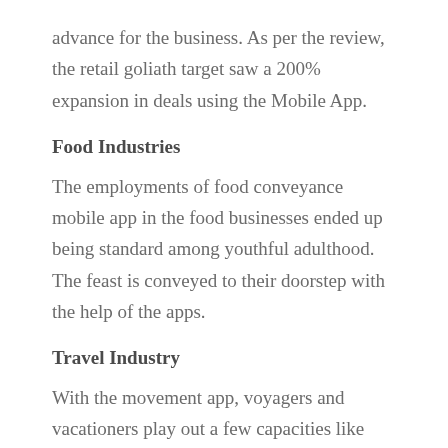advance for the business. As per the review, the retail goliath target saw a 200% expansion in deals using the Mobile App.
Food Industries
The employments of food conveyance mobile app in the food businesses ended up being standard among youthful adulthood. The feast is conveyed to their doorstep with the help of the apps.
Travel Industry
With the movement app, voyagers and vacationers play out a few capacities like setting up updates, value correlation, opportune notices on new limits, save future appointments at their